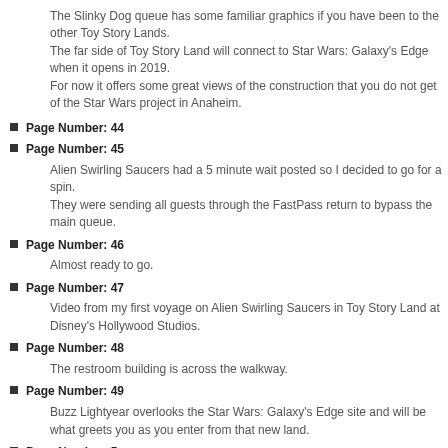The Slinky Dog queue has some familiar graphics if you have been to the other Toy Story Lands.
The far side of Toy Story Land will connect to Star Wars: Galaxy's Edge when it opens in 2019.
For now it offers some great views of the construction that you do not get of the Star Wars project in Anaheim.
Page Number: 44
Page Number: 45
Alien Swirling Saucers had a 5 minute wait posted so I decided to go for a spin.
They were sending all guests through the FastPass return to bypass the main queue.
Page Number: 46
Almost ready to go.
Page Number: 47
Video from my first voyage on Alien Swirling Saucers in Toy Story Land at Disney's Hollywood Studios.
Page Number: 48
The restroom building is across the walkway.
Page Number: 49
Buzz Lightyear overlooks the Star Wars: Galaxy's Edge site and will be what greets you as you enter from that new land.
Page Number: 50